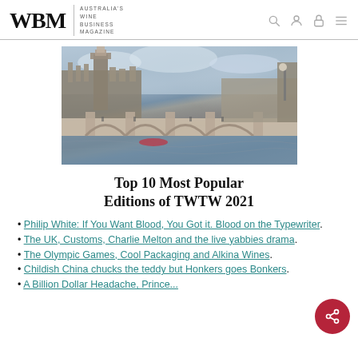WBM — Australia's Wine Business Magazine
[Figure (photo): Photograph of the Palace of Westminster and Westminster Bridge in London, with the Thames river in the foreground under a cloudy sky.]
Top 10 Most Popular Editions of TWTW 2021
Philip White: If You Want Blood, You Got it. Blood on the Typewriter.
The UK, Customs, Charlie Melton and the live yabbies drama.
The Olympic Games, Cool Packaging and Alkina Wines.
Childish China chucks the teddy but Honkers goes Bonkers.
A Billion Dollar Headache, Prince...